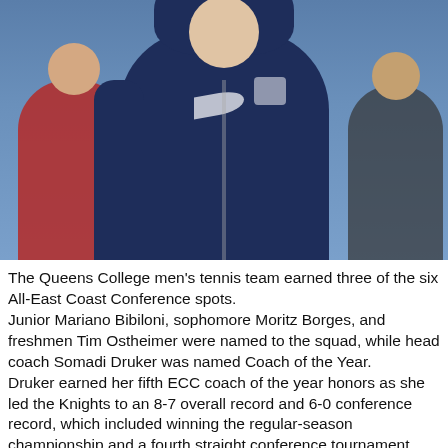[Figure (photo): A person wearing a navy blue Knights Tennis Nike hoodie/jacket stands facing the camera. Partially visible figures are in the background — one in red on the left, one in dark clothing on the right. The setting appears to be an indoor sports facility with blue walls.]
The Queens College men's tennis team earned three of the six All-East Coast Conference spots.
Junior Mariano Bibiloni, sophomore Moritz Borges, and freshmen Tim Ostheimer were named to the squad, while head coach Somadi Druker was named Coach of the Year.
Druker earned her fifth ECC coach of the year honors as she led the Knights to an 8-7 overall record and 6-0 conference record, which included winning the regular-season championship and a fourth straight conference tournament championship crown.
On the season, the Knights were 8-3 against DII opponents. She